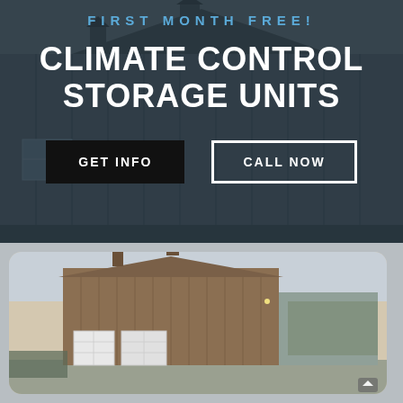[Figure (photo): Background photo of a dark metal barn/storage building with blue-grey metal siding and a peaked roof against a grey sky]
FIRST MONTH FREE!
CLIMATE CONTROL STORAGE UNITS
GET INFO
CALL NOW
[Figure (photo): Photo of a brown/tan metal storage building with white garage doors set against a winter landscape with bare trees]